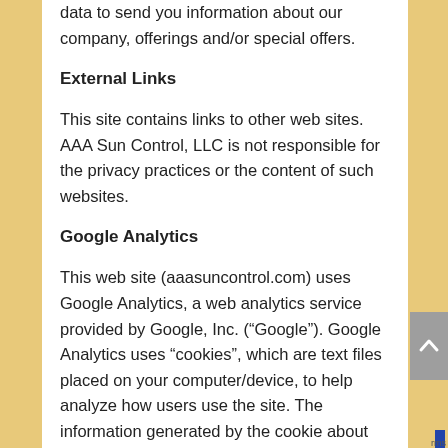data to send you information about our company, offerings and/or special offers.
External Links
This site contains links to other web sites. AAA Sun Control, LLC is not responsible for the privacy practices or the content of such websites.
Google Analytics
This web site (aaasuncontrol.com) uses Google Analytics, a web analytics service provided by Google, Inc. (“Google”). Google Analytics uses “cookies”, which are text files placed on your computer/device, to help analyze how users use the site. The information generated by the cookie about your use of this web site (including your IP address) will be transmitted to and stored by Google. Google Analytics will use this information for the purpose of evaluating your use of the web site, compiling reports on web site activity for web site operators and providing